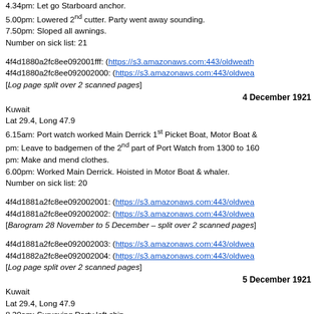4.34pm: Let go Starboard anchor.
5.00pm: Lowered 2nd cutter. Party went away sounding.
7.50pm: Sloped all awnings.
Number on sick list: 21
4f4d1880a2fc8ee092001fff: (https://s3.amazonaws.com:443/oldweath...)
4f4d1880a2fc8ee092002000: (https://s3.amazonaws.com:443/oldwea...)
[Log page split over 2 scanned pages]
4 December 1921
Kuwait
Lat 29.4, Long 47.9
6.15am: Port watch worked Main Derrick 1st Picket Boat, Motor Boat &...
pm: Leave to badgemen of the 2nd part of Port Watch from 1300 to 160...
pm: Make and mend clothes.
6.00pm: Worked Main Derrick. Hoisted in Motor Boat & whaler.
Number on sick list: 20
4f4d1881a2fc8ee092002001: (https://s3.amazonaws.com:443/oldwea...)
4f4d1881a2fc8ee092002002: (https://s3.amazonaws.com:443/oldwea...)
[Barogram 28 November to 5 December – split over 2 scanned pages...]
4f4d1881a2fc8ee092002003: (https://s3.amazonaws.com:443/oldwea...)
4f4d1882a2fc8ee092002004: (https://s3.amazonaws.com:443/oldwea...)
[Log page split over 2 scanned pages]
5 December 1921
Kuwait
Lat 29.4, Long 47.9
8.30am: Surveying Party left ship.
pm: Employed working Main Derrick. Hoisted out all boats except 2nd...
Away all boats exercise sailing. Tested gear in X turret.